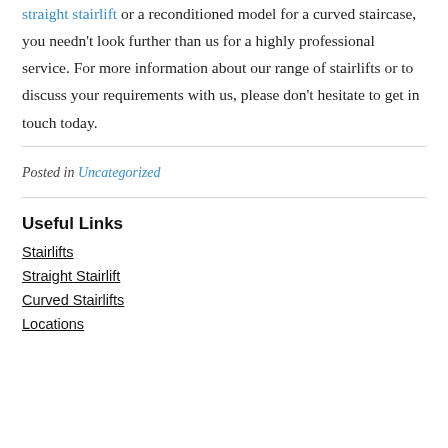straight stairlift or a reconditioned model for a curved staircase, you needn't look further than us for a highly professional service. For more information about our range of stairlifts or to discuss your requirements with us, please don't hesitate to get in touch today.
Posted in Uncategorized
Useful Links
Stairlifts
Straight Stairlift
Curved Stairlifts
Locations